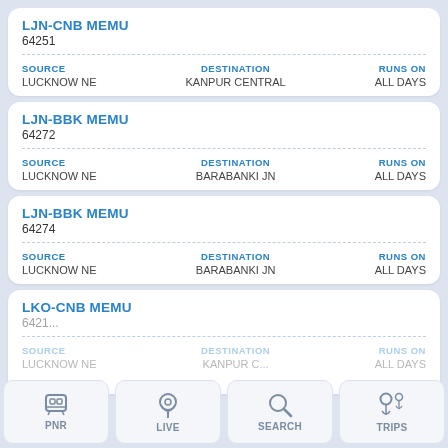LJN-CNB MEMU
64251
SOURCE: LUCKNOW NE | DESTINATION: KANPUR CENTRAL | RUNS ON: ALL DAYS
LJN-BBK MEMU
64272
SOURCE: LUCKNOW NE | DESTINATION: BARABANKI JN | RUNS ON: ALL DAYS
LJN-BBK MEMU
64274
SOURCE: LUCKNOW NE | DESTINATION: BARABANKI JN | RUNS ON: ALL DAYS
LKO-CNB MEMU
6421...
SOURCE: LUCKNOW NE | DESTINATION: ... | RUNS ON: ...
[Figure (screenshot): Mobile app bottom navigation bar with four icons: PNR (train icon), LIVE (location pin icon), SEARCH (magnifying glass icon), TRIPS (location with person icon)]